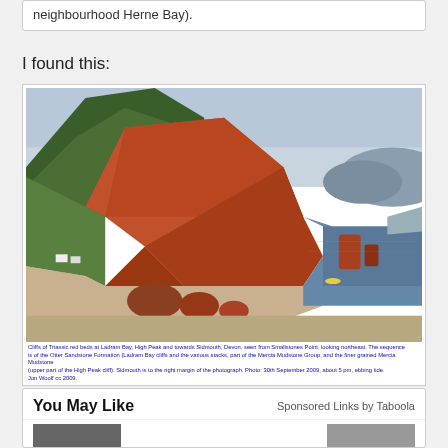neighbourhood Herne Bay).
I found this:
[Figure (photo): Cliffs of Triassic red beds at Ladram Bay, High Peak and towards Sidmouth, Devon, seen from Smallstones Point, looking northeast. The sequence is of the Otter Sandstone Formation (Ladram Bay cliffs and the various stacks, part of the Mercia Mudstone Group, and the finer grained Mercia Mudstone (upper part of the High Peak cliff). Sidmouth is to the right margin of the photograph. Photo: 30th September 2009, about 5 pm, ebbing tide. Jon Woolf cc 2009.]
Cliffs of Triassic red beds at Ladram Bay, High Peak and towards Sidmouth, Devon, seen from Smallstones Point, looking northeast. The sequence is of the Otter Sandstone Formation (Ladram Bay cliffs and the various stacks, part of the Mercia Mudstone Group, and the finer grained Mercia Mudstone (upper part of the High Peak cliff). Sidmouth is to the right margin of the photograph. Photo: 30th September 2009, about 5 pm, ebbing tide. Jon Woolf cc 2009.
You May Like
Sponsored Links by Taboola